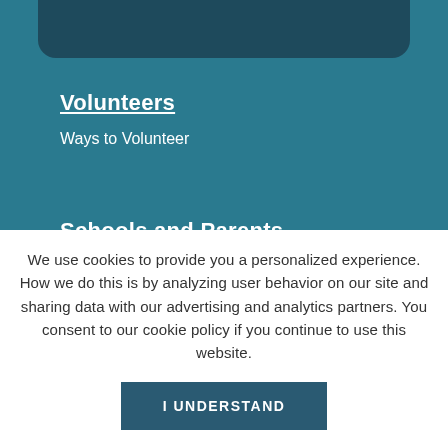Volunteers
Ways to Volunteer
Schools and Parents
Program Supplements
Program Correlations
Program Evaluations
We use cookies to provide you a personalized experience. How we do this is by analyzing user behavior on our site and sharing data with our advertising and analytics partners. You consent to our cookie policy if you continue to use this website.
I UNDERSTAND